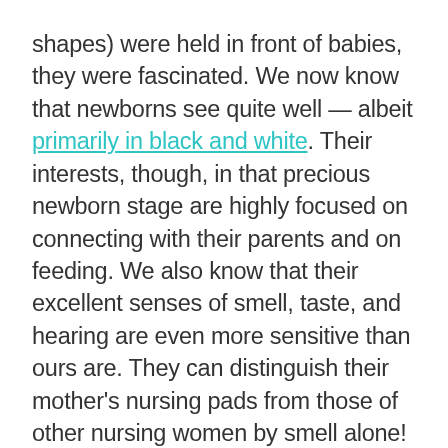shapes) were held in front of babies, they were fascinated. We now know that newborns see quite well — albeit primarily in black and white. Their interests, though, in that precious newborn stage are highly focused on connecting with their parents and on feeding. We also know that their excellent senses of smell, taste, and hearing are even more sensitive than ours are. They can distinguish their mother's nursing pads from those of other nursing women by smell alone!

We would like to believe that babies don't feel pain and that their genitals are not sensitive to pain or pleasure. But this is simply not true. Both baby boys and girls have sensitive